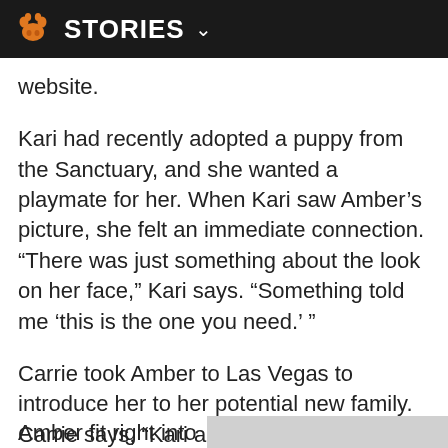STORIES
website.
Kari had recently adopted a puppy from the Sanctuary, and she wanted a playmate for her. When Kari saw Amber’s picture, she felt an immediate connection. “There was just something about the look on her face,” Kari says. “Something told me ‘this is the one you need.’ ”
Carrie took Amber to Las Vegas to introduce her to her potential new family. Carrie says, “Kari and her father have four dogs, and their life revolves around them. They go hiking and running, and splashing around in kiddie pools in the backyard.”
Amber fit right into